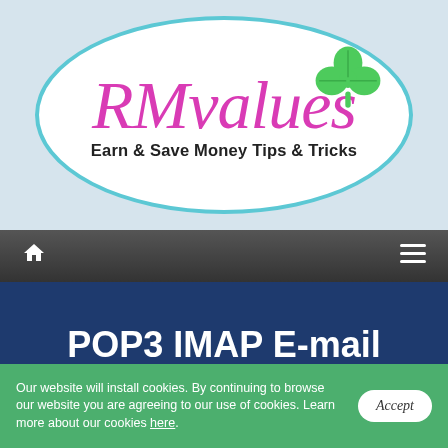[Figure (logo): RMvalues logo: oval with teal border, cursive pink 'RMvalues' text with green shamrock, tagline 'Earn & Save Money Tips & Tricks']
🏠  ≡
POP3 IMAP E-mail Accounts
Our website will install cookies. By continuing to browse our website you are agreeing to our use of cookies. Learn more about our cookies here.